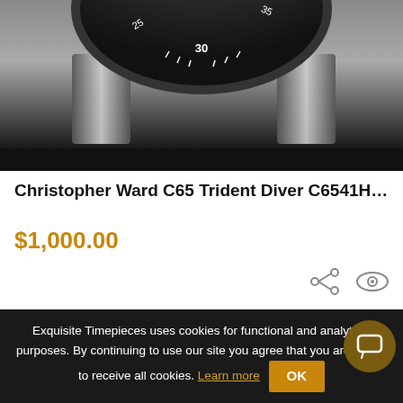[Figure (photo): Top portion of a Christopher Ward C65 Trident Diver watch showing the bezel and crown area, cropped, on dark background]
Christopher Ward C65 Trident Diver C6541H…
$1,000.00
[Figure (photo): Bottom/case portion of the Christopher Ward C65 Trident Diver watch showing the case and dial, on dark background]
Exquisite Timepieces uses cookies for functional and analytical purposes. By continuing to use our site you agree that you are happy to receive all cookies. Learn more OK